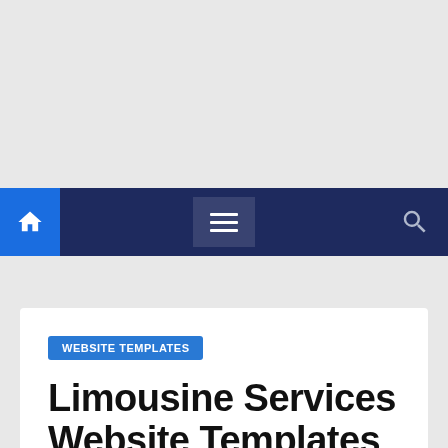[Figure (screenshot): Gray advertisement/placeholder area at the top of the page]
Navigation bar with home icon, hamburger menu, and search icon
WEBSITE TEMPLATES
Limousine Services Website Templates